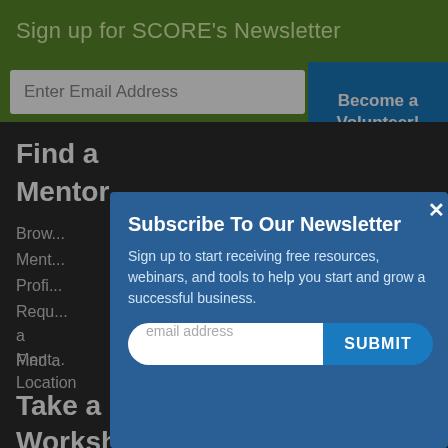Sign up for SCORE's Newsletter
Enter Email Address
Become a Volunteer!
Find a
Mentor
Brow...
Ment...
Profi...
Requ... a Ment...
Find a Location
Take a
Workshop
[Figure (screenshot): Modal popup: Subscribe To Our Newsletter with email input and SUBMIT button]
Subscribe To Our Newsletter
Sign up to start receiving free resources, webinars, and tools to help you start and grow a successful business.
email address
SUBMIT